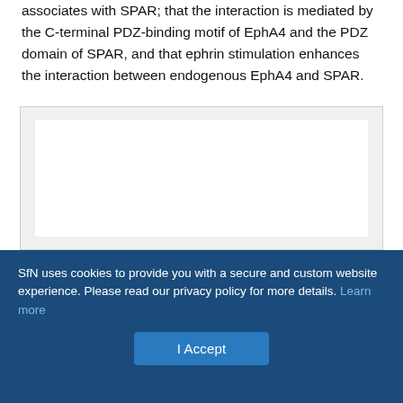associates with SPAR; that the interaction is mediated by the C-terminal PDZ-binding motif of EphA4 and the PDZ domain of SPAR, and that ephrin stimulation enhances the interaction between endogenous EphA4 and SPAR.
[Figure (other): Blank white figure area with light gray background border, content not visible (likely an image or figure panel from the scientific article).]
SfN uses cookies to provide you with a secure and custom website experience. Please read our privacy policy for more details. Learn more